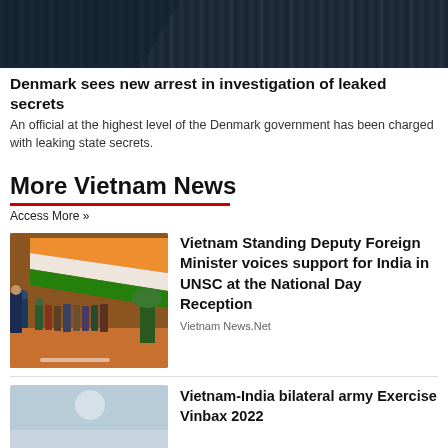[Figure (photo): Top portion of a building with dark metal slats or blinds, architectural detail]
Denmark sees new arrest in investigation of leaked secrets
An official at the highest level of the Denmark government has been charged with leaking state secrets.
More Vietnam News
Access More »
[Figure (photo): People gathered at an event with Indian flag draped overhead, orange and white colors visible]
Vietnam Standing Deputy Foreign Minister voices support for India in UNSC at the National Day Reception
Vietnam News.Net
[Figure (photo): Light blue/white background image, partial view]
Vietnam-India bilateral army Exercise Vinbax 2022